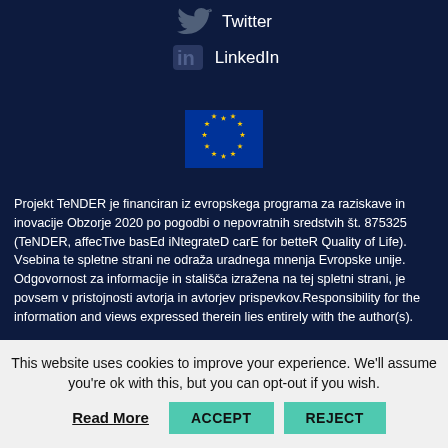[Figure (logo): Twitter bird icon in gray on dark navy background]
Twitter
[Figure (logo): LinkedIn 'in' icon in gray on dark navy background]
LinkedIn
[Figure (illustration): European Union flag with blue background and circle of yellow stars]
Projekt TeNDER je financiran iz evropskega programa za raziskave in inovacije Obzorje 2020 po pogodbi o nepovratnih sredstvih št. 875325 (TeNDER, affecTive basEd iNtegrateD carE for betteR Quality of Life). Vsebina te spletne strani ne odraža uradnega mnenja Evropske unije. Odgovornost za informacije in stališča izražena na tej spletni strani, je povsem v pristojnosti avtorja in avtorjev prispevkov.Responsibility for the information and views expressed therein lies entirely with the author(s).
This website uses cookies to improve your experience. We'll assume you're ok with this, but you can opt-out if you wish.
Read More
ACCEPT
REJECT